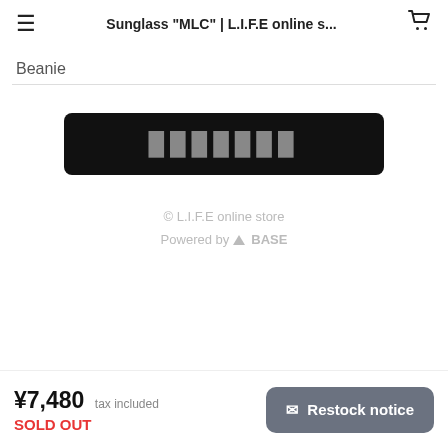Sunglass "MLC" | L.I.F.E online s...
Beanie
[Figure (other): Black rounded rectangle button with Japanese text (sold out button)]
© L.I.F.E online store
Powered by BASE
¥7,480 tax included
SOLD OUT
Restock notice